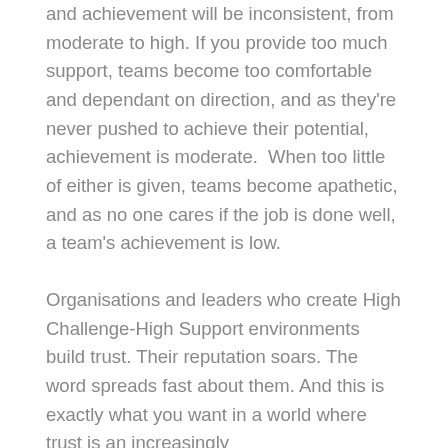and achievement will be inconsistent, from moderate to high. If you provide too much support, teams become too comfortable and dependant on direction, and as they're never pushed to achieve their potential, achievement is moderate.  When too little of either is given, teams become apathetic, and as no one cares if the job is done well, a team's achievement is low.
Organisations and leaders who create High Challenge-High Support environments build trust. Their reputation soars. The word spreads fast about them. And this is exactly what you want in a world where trust is an increasingly